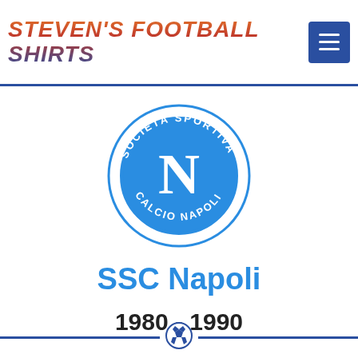STEVEN'S FOOTBALL SHIRTS
[Figure (logo): SSC Napoli circular crest — blue circle with large white letter N in center, text 'SOCIETA SPORTIVA' arcing top and 'CALCIO NAPOLI' arcing bottom, white outer ring]
SSC Napoli
1980 - 1990